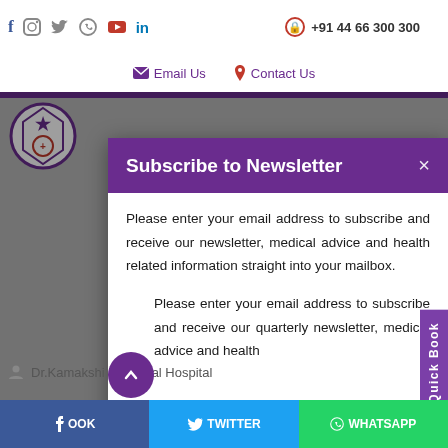f  Instagram  Twitter  WhatsApp  YouTube  in   +91 44 66 300 300
Email Us   Contact Us
Subscribe to Newsletter
Please enter your email address to subscribe and receive our newsletter, medical advice and health related information straight into your mailbox.
Please enter your email address to subscribe and receive our quarterly newsletter, medical advice and health
Dr.Kamakshi Memorial Hospital